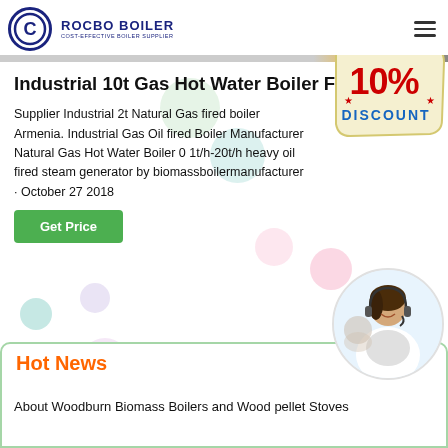[Figure (logo): Rocbo Boiler logo with circular C emblem and text 'ROCBO BOILER - COST-EFFECTIVE BOILER SUPPLIER']
Industrial 10t Gas Hot Water Boiler For Sale
Supplier Industrial 2t Natural Gas fired boiler Armenia. Industrial Gas Oil fired Boiler Manufacturer Natural Gas Hot Water Boiler 0 1t/h-20t/h heavy oil fired steam generator by biomassboilermanufacturer · October 27 2018
[Figure (illustration): 10% Discount badge/sticker in red and yellow]
[Figure (photo): Customer service representative woman wearing headset, circular crop]
Hot News
About Woodburn Biomass Boilers and Wood pellet Stoves